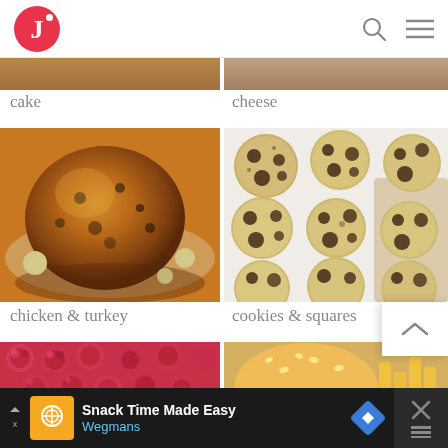[Figure (screenshot): App header with red circular logo containing letter J and dot, search icon, and hamburger menu icon]
cake
cheese
[Figure (photo): Partial photo of cake (top cropped)]
[Figure (photo): Partial photo of cheese dish (top cropped)]
[Figure (photo): Roasted whole chicken/turkey on a plate with garnishes]
[Figure (photo): Chocolate chip cookies arranged on white surface]
chicken & turkey
cookies & squares
[Figure (photo): Raspberry dessert with fresh raspberries arranged in rows (partially visible)]
[Figure (photo): Hamburger and french fries (partially visible)]
[Figure (screenshot): Advertisement banner: Snack Time Made Easy - Wegmans]